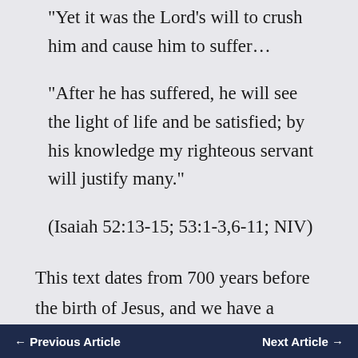“Yet it was the Lord’s will to crush him and cause him to suffer…
“After he has suffered, he will see the light of life and be satisfied; by his knowledge my righteous servant will justify many.”
(Isaiah 52:13-15; 53:1-3,6-11; NIV)
This text dates from 700 years before the birth of Jesus, and we have a manuscript, or ancient copy, of it that precedes the death of
← Previous Article    Next Article →